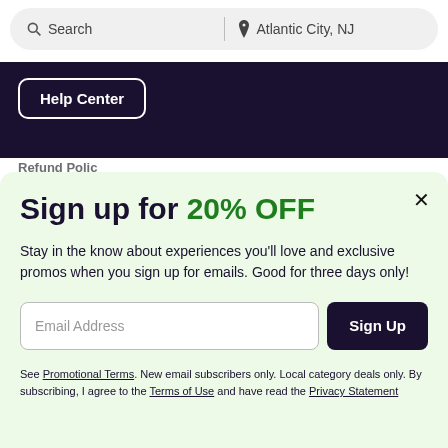[Figure (screenshot): Search bar with 'Search' text on left and 'Atlantic City, NJ' with location pin on right, inside rounded pill-shaped input]
Help Center
Refund Polic...
Sign up for 20% OFF
Stay in the know about experiences you'll love and exclusive promos when you sign up for emails. Good for three days only!
Email Address
Sign Up
See Promotional Terms. New email subscribers only. Local category deals only. By subscribing, I agree to the Terms of Use and have read the Privacy Statement